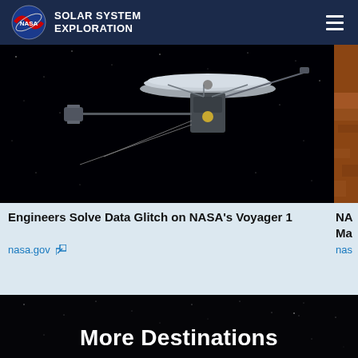NASA Solar System Exploration
[Figure (photo): NASA Voyager 1 spacecraft illustration against black starry background, showing large dish antenna and extended booms]
[Figure (photo): Partial view of Mars surface terrain, reddish-brown rocky landscape (cropped on right edge)]
Engineers Solve Data Glitch on NASA's Voyager 1
nasa.gov ↗
NA... Mar...
nas...
More Destinations